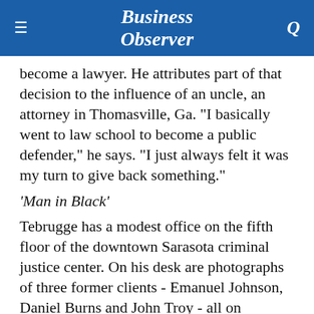Business Observer
become a lawyer. He attributes part of that decision to the influence of an uncle, an attorney in Thomasville, Ga. "I basically went to law school to become a public defender," he says. "I just always felt it was my turn to give back something."
'Man in Black'
Tebrugge has a modest office on the fifth floor of the downtown Sarasota criminal justice center. On his desk are photographs of three former clients - Emanuel Johnson, Daniel Burns and John Troy - all on Florida's Death Row.